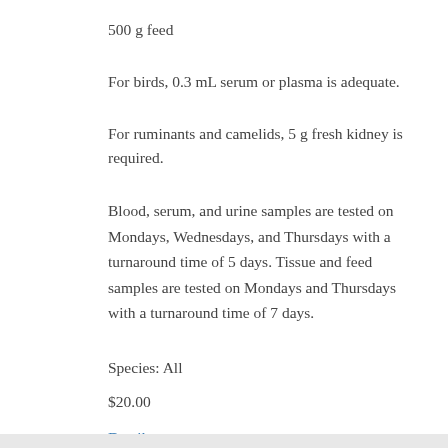500 g feed
For birds, 0.3 mL serum or plasma is adequate.
For ruminants and camelids, 5 g fresh kidney is required.
Blood, serum, and urine samples are tested on Mondays, Wednesdays, and Thursdays with a turnaround time of 5 days. Tissue and feed samples are tested on Mondays and Thursdays with a turnaround time of 7 days.
Species: All
$20.00
Details